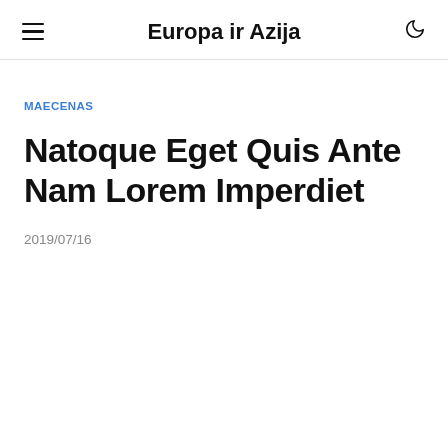Europa ir Azija
MAECENAS
Natoque Eget Quis Ante Nam Lorem Imperdiet
2019/07/16